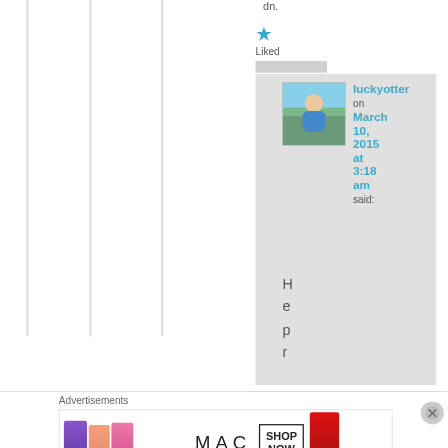dn.
[Figure (other): Blue star icon for 'Liked' button]
Liked
[Figure (photo): User avatar photo of luckyotter - person in blue top outdoors]
luckyotter on March 10, 2015 at 3:18 am said:
H e p r
Advertisements
[Figure (photo): MAC Cosmetics advertisement banner showing lipsticks in purple, peach, pink, and red colors with MAC logo and SHOP NOW button]